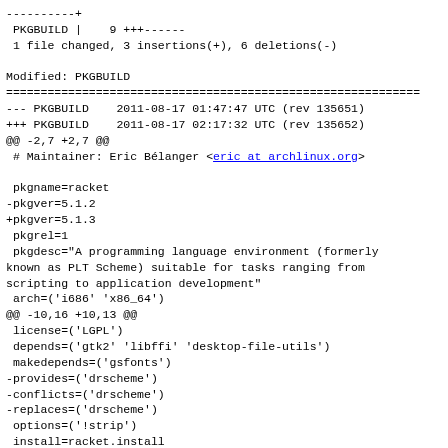----------+
 PKGBUILD |    9 +++------
 1 file changed, 3 insertions(+), 6 deletions(-)

Modified: PKGBUILD
============================================================
--- PKGBUILD    2011-08-17 01:47:47 UTC (rev 135651)
+++ PKGBUILD    2011-08-17 02:17:32 UTC (rev 135652)
@@ -2,7 +2,7 @@
 # Maintainer: Eric Bélanger <eric at archlinux.org>

 pkgname=racket
-pkgver=5.1.2
+pkgver=5.1.3
 pkgrel=1
 pkgdesc="A programming language environment (formerly
known as PLT Scheme) suitable for tasks ranging from
scripting to application development"
 arch=('i686' 'x86_64')
@@ -10,16 +10,13 @@
 license=('LGPL')
 depends=('gtk2' 'libffi' 'desktop-file-utils')
 makedepends=('gsfonts')
-provides=('drscheme')
-conflicts=('drscheme')
-replaces=('drscheme')
 options=('!strip')
 install=racket.install
 source=(http://download.racket-lang.org/installers/${pkgver}/racket/${pkgname}-${pkgver-